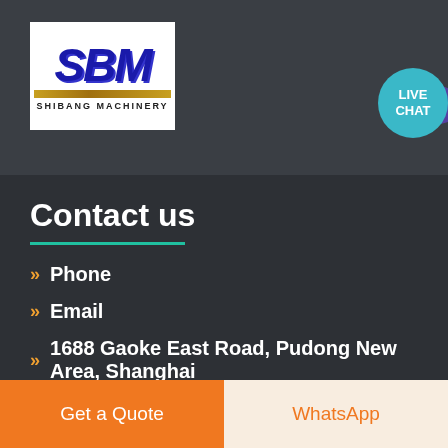[Figure (logo): SBM Shibang Machinery logo — white background, blue italic SBM text, gold bar, SHIBANG MACHINERY text]
[Figure (infographic): Teal circular live chat bubble with LIVE CHAT text, overlapping purple speech bubble tail]
Contact us
Phone
Email
1688 Gaoke East Road, Pudong New Area, Shanghai
Get a Quote
WhatsApp